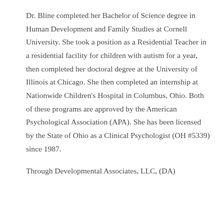Dr. Bline completed her Bachelor of Science degree in Human Development and Family Studies at Cornell University. She took a position as a Residential Teacher in a residential facility for children with autism for a year, then completed her doctoral degree at the University of Illinois at Chicago. She then completed an internship at Nationwide Children's Hospital in Columbus, Ohio. Both of these programs are approved by the American Psychological Association (APA). She has been licensed by the State of Ohio as a Clinical Psychologist (OH #5339) since 1987.
Through Developmental Associates, LLC, (DA)